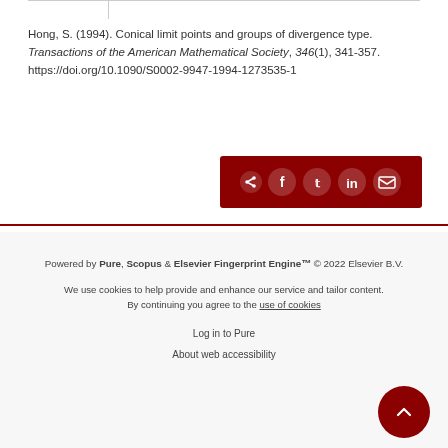Hong, S. (1994). Conical limit points and groups of divergence type. Transactions of the American Mathematical Society, 346(1), 341-357. https://doi.org/10.1090/S0002-9947-1994-1273535-1
[Figure (other): Dark red share bar with share icon and social media buttons: Facebook, Twitter, LinkedIn, Email]
Powered by Pure, Scopus & Elsevier Fingerprint Engine™ © 2022 Elsevier B.V.
We use cookies to help provide and enhance our service and tailor content. By continuing you agree to the use of cookies
Log in to Pure
About web accessibility